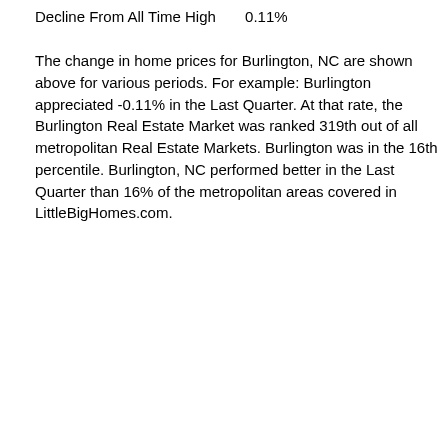Decline From All Time High        0.11%
The change in home prices for Burlington, NC are shown above for various periods. For example: Burlington appreciated -0.11% in the Last Quarter. At that rate, the Burlington Real Estate Market was ranked 319th out of all metropolitan Real Estate Markets. Burlington was in the 16th percentile. Burlington, NC performed better in the Last Quarter than 16% of the metropolitan areas covered in LittleBigHomes.com.